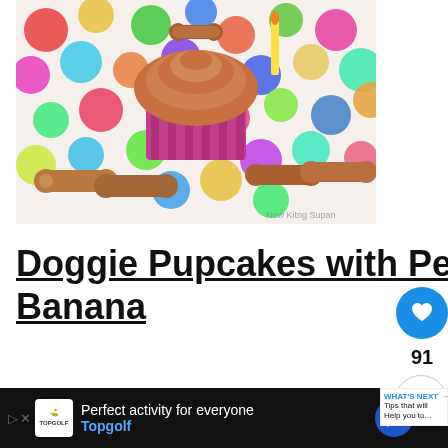[Figure (photo): A dog birthday cupcake (pupcake) with peanut butter frosting and a dog bone cookie on top, surrounded by dog bone treats on a colorful polka dot surface]
Doggie Pupcakes with Peanut Butter and Banana
[Figure (photo): Golden-brown dog bone shaped treats in a glass jar, with more treats scattered around on a light surface]
WHAT'S NEXT → Tips that will Help you to...
Perfect activity for everyone Topgolf